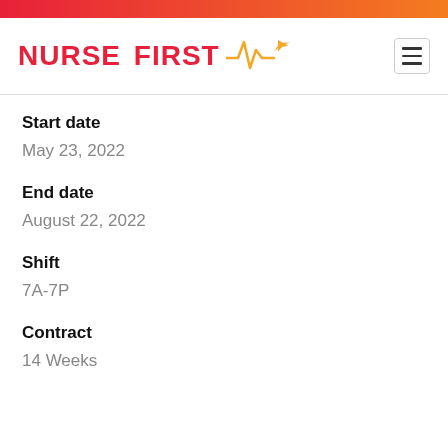[Figure (logo): Nurse First logo with heartbeat and airplane icon, gradient header bar]
Start date
May 23, 2022
End date
August 22, 2022
Shift
7A-7P
Contract
14 Weeks